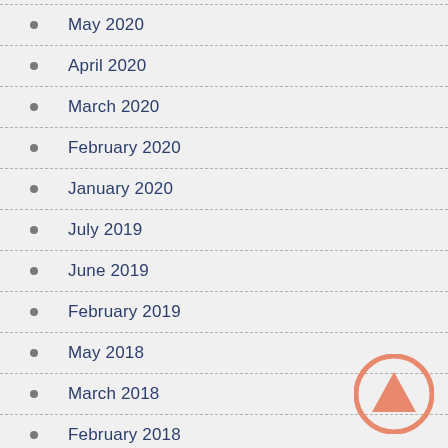May 2020
April 2020
March 2020
February 2020
January 2020
July 2019
June 2019
February 2019
May 2018
March 2018
February 2018
[Figure (logo): Circular logo with upward-pointing triangle/arrow symbol in salmon/coral color]